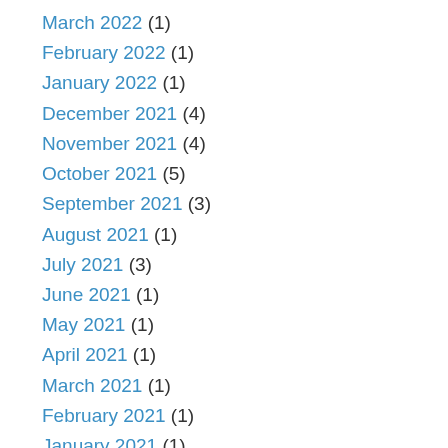March 2022 (1)
February 2022 (1)
January 2022 (1)
December 2021 (4)
November 2021 (4)
October 2021 (5)
September 2021 (3)
August 2021 (1)
July 2021 (3)
June 2021 (1)
May 2021 (1)
April 2021 (1)
March 2021 (1)
February 2021 (1)
January 2021 (1)